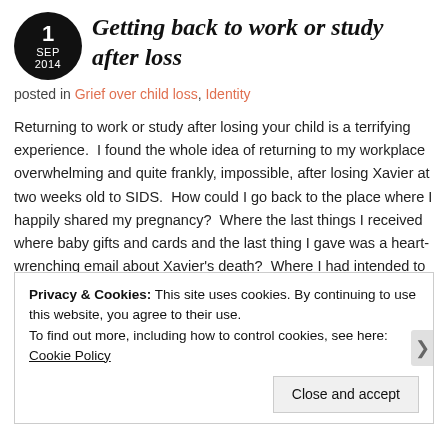Getting back to work or study after loss
posted in Grief over child loss, Identity
Returning to work or study after losing your child is a terrifying experience.  I found the whole idea of returning to my workplace overwhelming and quite frankly, impossible, after losing Xavier at two weeks old to SIDS.  How could I go back to the place where I happily shared my pregnancy?  Where the last things I received where baby gifts and cards and the last thing I gave was a heart-wrenching email about Xavier's death?  Where I had intended to bring Xavier to share with my friends and colleagues?  There were a
Privacy & Cookies: This site uses cookies. By continuing to use this website, you agree to their use.
To find out more, including how to control cookies, see here: Cookie Policy
Close and accept